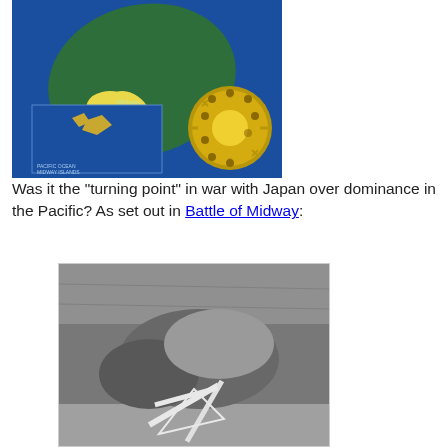[Figure (photo): Satellite/aerial map image of Midway Atoll shown in blue ocean water with green landmass and yellow sand areas, plus an inset map and a decorative medallion/coin with sun design in lower right]
Was it the "turning point" in war with Japan over dominance in the Pacific? As set out in Battle of Midway:
[Figure (photo): Black and white aerial photograph of Midway Atoll showing the island atoll from above with runway/airstrip infrastructure visible on the lower island]